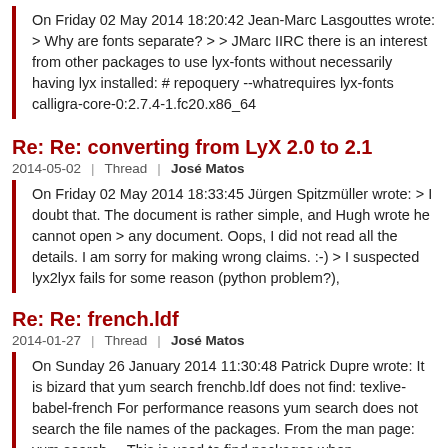On Friday 02 May 2014 18:20:42 Jean-Marc Lasgouttes wrote: > Why are fonts separate? > > JMarc IIRC there is an interest from other packages to use lyx-fonts without necessarily having lyx installed: # repoquery --whatrequires lyx-fonts calligra-core-0:2.7.4-1.fc20.x86_64
Re: Re: converting from LyX 2.0 to 2.1
2014-05-02 | Thread | José Matos
On Friday 02 May 2014 18:33:45 Jürgen Spitzmüller wrote: > I doubt that. The document is rather simple, and Hugh wrote he cannot open > any document. Oops, I did not read all the details. I am sorry for making wrong claims. :-) > I suspected lyx2lyx fails for some reason (python problem?),
Re: Re: french.ldf
2014-01-27 | Thread | José Matos
On Sunday 26 January 2014 11:30:48 Patrick Dupre wrote: It is bizard that yum search frenchb.ldf does not find: texlive-babel-french For performance reasons yum search does not search the file names of the packages. From the man page: yum search ... This is used to find packages when
Re: Re: french.ldf